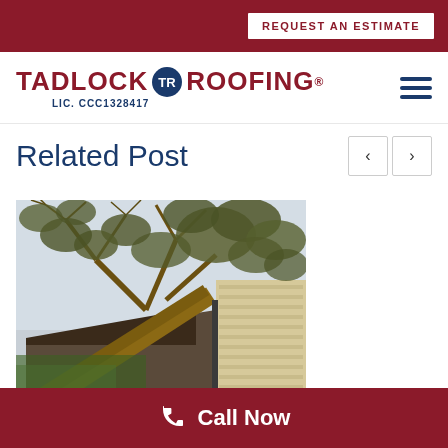REQUEST AN ESTIMATE
[Figure (logo): Tadlock Roofing logo with circular badge and text LIC. CCC1328417]
Related Post
[Figure (photo): Fallen tree on top of a house roof, showing storm damage with branches and debris covering the roof structure]
Call Now